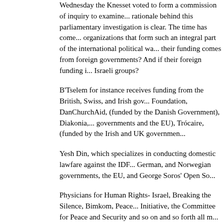Wednesday the Knesset voted to form a commission of inquiry to examine... rationale behind this parliamentary investigation is clear. The time has come... organizations that form such an integral part of the international political wa... their funding comes from foreign governments? And if their foreign funding i... Israeli groups?
B'Tselem for instance receives funding from the British, Swiss, and Irish gov... Foundation, DanChurchAid, (funded by the Danish Government), Diakonia,... governments and the EU), Trócaire, (funded by the Irish and UK governmen...
Yesh Din, which specializes in conducting domestic lawfare against the IDF... German, and Norwegian governments, the EU, and George Soros' Open So...
Physicians for Human Rights- Israel, Breaking the Silence, Bimkom, Peace... Initiative, the Committee for Peace and Security and so on and so forth all m... governments. The Samaria Regional Council alleges that over the past dec... hundreds of millions of euros, dollars and shekels to these Israeli "grassroo...
The fact is that these groups' claim to grassroots' status is as credible as th... Palestinian victimhood. In truth, these NGOs are local agents of foreign gov... anti-Israel policies.
The Knesset's move to investigate these groups was greeted by righteous n... sympathetic Leftist Knesset members. The Knesset's decision was casti...